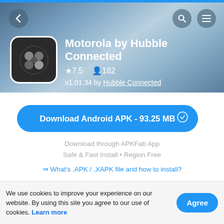Motorola by Hubble Connected — APKFab app page header with back, search, and menu buttons
Motorola by Hubble Connected
★7.5  👤182
v1.01.34 by Hubble Connected
Download Android APK - 93.25 MB
Download through APKFab App
Safe & Fast Install • Region Free
⇒ What's .APK / .XAPK file and how to install?
About Motorola by Hubble Connected
We use cookies to improve your experience on our website. By using this site you agree to our use of cookies. Learn more